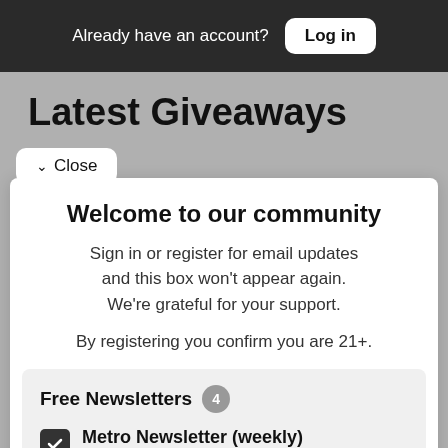Already have an account? Log in
Latest Giveaways
Close
Manresa Bread
Welcome to our community
Sign in or register for email updates and this box won't appear again. We're grateful for your support.
By registering you confirm you are 21+.
Free Newsletters 4
Metro Newsletter (weekly) — The weekly news